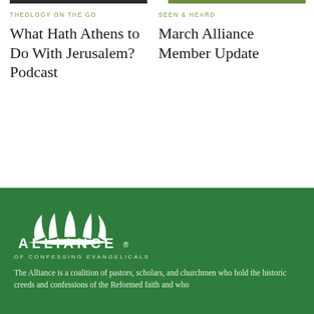THEOLOGY ON THE GO
What Hath Athens to Do With Jerusalem? Podcast
SEEN & HEARD
March Alliance Member Update
[Figure (logo): Alliance of Confessing Evangelicals logo — white sun-rays arc over a horizon, with text ALLIANCE OF CONFESSING EVANGELICALS on a dark green background]
The Alliance is a coalition of pastors, scholars, and churchmen who hold the historic creeds and confessions of the Reformed faith and who